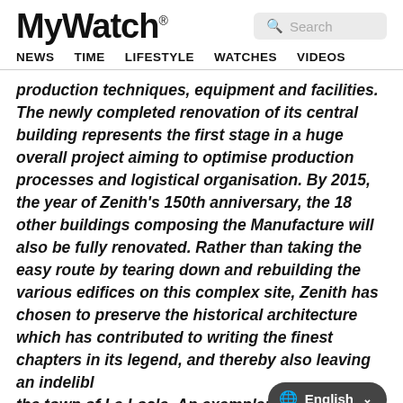MyWatch® NEWS TIME LIFESTYLE WATCHES VIDEOS Search
production techniques, equipment and facilities. The newly completed renovation of its central building represents the first stage in a huge overall project aiming to optimise production processes and logistical organisation. By 2015, the year of Zenith's 150th anniversary, the 18 other buildings composing the Manufacture will also be fully renovated. Rather than taking the easy route by tearing down and rebuilding the various edifices on this complex site, Zenith has chosen to preserve the historical architecture which has contributed to writing the finest chapters in its legend, and thereby also leaving an indelibl… the town of Le Locle. An exemplary means of